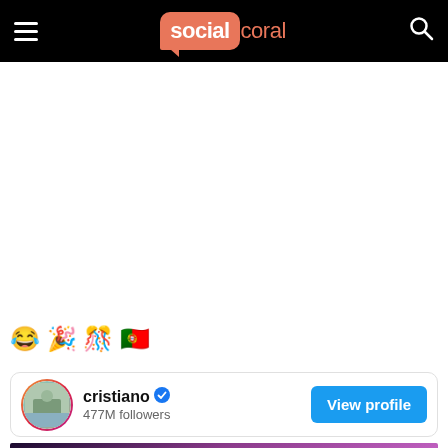social coral
😂 🎉 🎊 🇵🇹
[Figure (other): Instagram-style profile card for cristiano with 477M followers and a View profile button]
[Figure (photo): Dark nightclub/party scene with purple and pink lighting, partially visible at bottom of page]